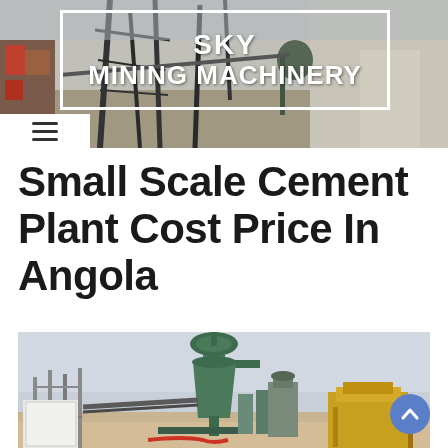[Figure (photo): Sky Mining Machinery website header banner with industrial machinery/mining plant background image. White bordered logo box contains 'SKY MINING MACHINERY' in bold white text. A white hamburger menu icon box appears at bottom left of header.]
Small Scale Cement Plant Cost Price In Angola
[Figure (photo): Photograph of a small scale cement plant showing industrial equipment including a large green cyclone dust collector tower, conveyor systems, steel frame structures, and yellow crushing equipment on an arid/desert landscape.]